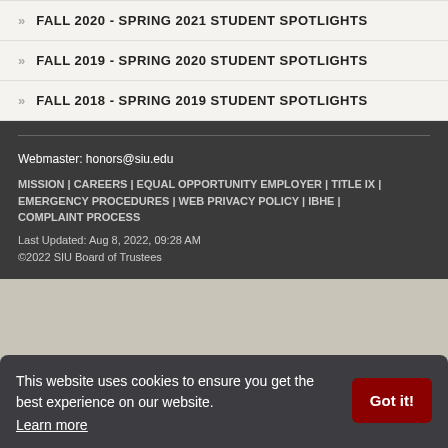FALL 2020 - SPRING 2021 STUDENT SPOTLIGHTS
FALL 2019 - SPRING 2020 STUDENT SPOTLIGHTS
FALL 2018 - SPRING 2019 STUDENT SPOTLIGHTS
Webmaster: honors@siu.edu
MISSION | CAREERS | EQUAL OPPORTUNITY EMPLOYER | TITLE IX | EMERGENCY PROCEDURES | WEB PRIVACY POLICY | IBHE | COMPLAINT PROCESS
Last Updated: Aug 8, 2022, 09:28 AM
©2022 SIU Board of Trustees
This website uses cookies to ensure you get the best experience on our website. Learn more